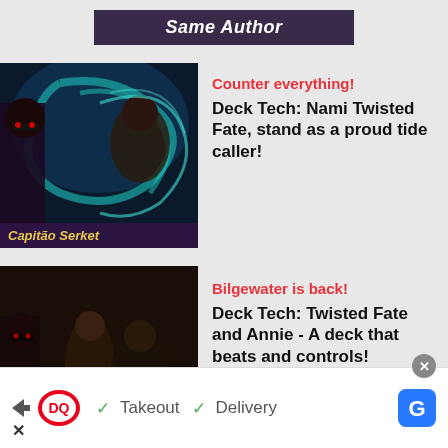Same Author
[Figure (illustration): Game artwork showing Nami and Twisted Fate characters with caption 'Capitão Serket']
Counter everything!
Deck Tech: Nami Twisted Fate, stand as a proud tide caller!
[Figure (illustration): Game artwork showing dark fantasy characters fighting]
Bilgewater is back!
Deck Tech: Twisted Fate and Annie - A deck that beats and controls!
[Figure (other): Dairy Queen advertisement banner with Takeout and Delivery options]